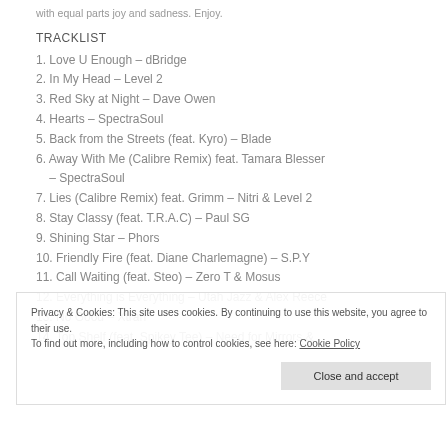with equal parts joy and sadness. Enjoy.
TRACKLIST
1. Love U Enough – dBridge
2. In My Head – Level 2
3. Red Sky at Night – Dave Owen
4. Hearts – SpectraSoul
5. Back from the Streets (feat. Kyro) – Blade
6. Away With Me (Calibre Remix) feat. Tamara Blesser – SpectraSoul
7. Lies (Calibre Remix) feat. Grimm – Nitri & Level 2
8. Stay Classy (feat. T.R.A.C) – Paul SG
9. Shining Star – Phors
10. Friendly Fire (feat. Diane Charlemagne) – S.P.Y
11. Call Waiting (feat. Steo) – Zero T & Mosus
12. Everything is Everything – Utah Jazz & Alex Reece
13. No Good – Xtrah
14. Top Shelf (feat. Spikey Tee) – Need for Mirrors &
Privacy & Cookies: This site uses cookies. By continuing to use this website, you agree to their use. To find out more, including how to control cookies, see here: Cookie Policy